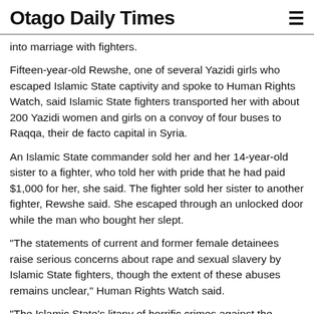Otago Daily Times
into marriage with fighters.
Fifteen-year-old Rewshe, one of several Yazidi girls who escaped Islamic State captivity and spoke to Human Rights Watch, said Islamic State fighters transported her with about 200 Yazidi women and girls on a convoy of four buses to Raqqa, their de facto capital in Syria.
An Islamic State commander sold her and her 14-year-old sister to a fighter, who told her with pride that he had paid $1,000 for her, she said. The fighter sold her sister to another fighter, Rewshe said. She escaped through an unlocked door while the man who bought her slept.
"The statements of current and former female detainees raise serious concerns about rape and sexual slavery by Islamic State fighters, though the extent of these abuses remains unclear," Human Rights Watch said.
"The Islamic State's litany of horrific crimes against the Yezidis in Iraq only keeps growing," said Fred Abrahams, special adviser at Human Rights Watch.